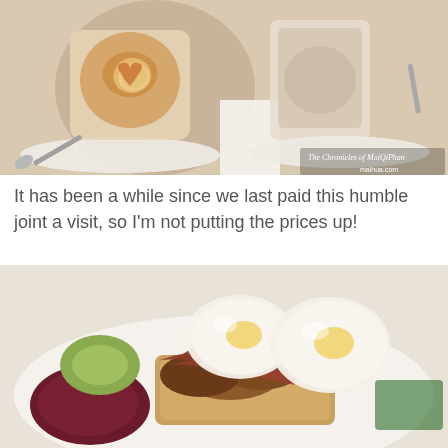[Figure (photo): Two lattes in glasses on white saucers with spoons, one with latte art heart pattern. Watermark reads 'The Chronicles of MaiQiPhan maihua.com'.]
It has been a while since we last paid this humble joint a visit, so I'm not putting the prices up!
[Figure (photo): Close-up of a breakfast dish featuring poached eggs on toast with bacon, mushrooms, spinach, avocado, and beetroot on a white plate.]